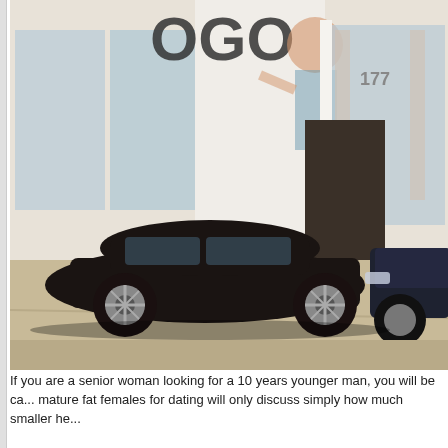[Figure (photo): Street scene showing the front of a store with large windows and a mural/logo on the wall. Two dark-colored cars are parked in front on a concrete sidewalk.]
If you are a senior woman looking for a 10 years younger man, you will be ca... mature fat females for dating will only discuss simply how much smaller he...